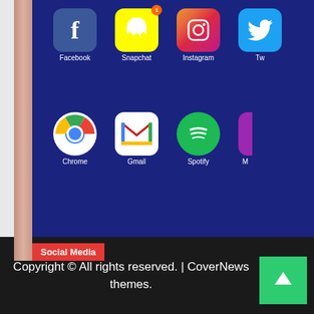[Figure (photo): Close-up of a smartphone screen showing social media app icons: Facebook, Snapchat (with orange notification badge), Instagram, Twitter, Chrome, Gmail, Spotify. Category label 'Social Media' in red banner at bottom-left.]
Don't be Fooled: Use Social Media for Enjoying 1000 App Downloads
4 months ago  mafia
Copyright © All rights reserved. | CoverNews themes.